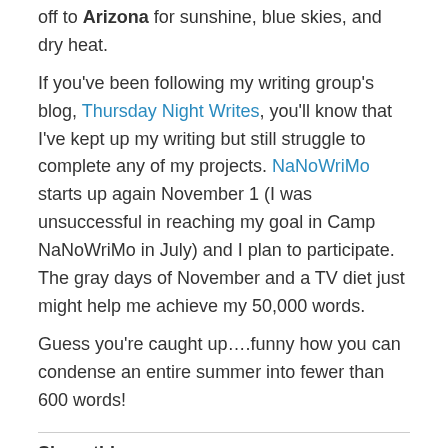off to Arizona for sunshine, blue skies, and dry heat.
If you've been following my writing group's blog, Thursday Night Writes, you'll know that I've kept up my writing but still struggle to complete any of my projects. NaNoWriMo starts up again November 1 (I was unsuccessful in reaching my goal in Camp NaNoWriMo in July) and I plan to participate. The gray days of November and a TV diet just might help me achieve my 50,000 words.
Guess you're caught up….funny how you can condense an entire summer into fewer than 600 words!
Share this:
Twitter   Facebook